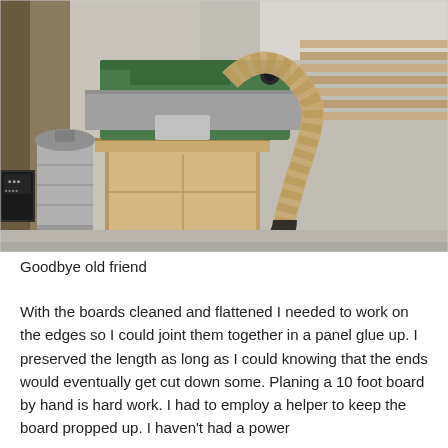[Figure (photo): A woodworking shop setup outdoors showing a planer mounted on a wooden cabinet on casters with a dust collection hose attached, a metal trash can to the left, stacks of lumber boards to the right, and concrete driveway surface visible.]
Goodbye old friend
With the boards cleaned and flattened I needed to work on the edges so I could joint them together in a panel glue up. I preserved the length as long as I could knowing that the ends would eventually get cut down some. Planing a 10 foot board by hand is hard work. I had to employ a helper to keep the board propped up. I haven't had a power